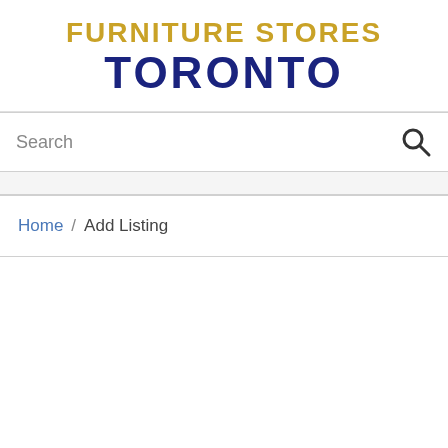[Figure (logo): Furniture Stores Toronto logo with gold 'FURNITURE STORES' text and dark blue 'TORONTO' text below]
Search
Home / Add Listing